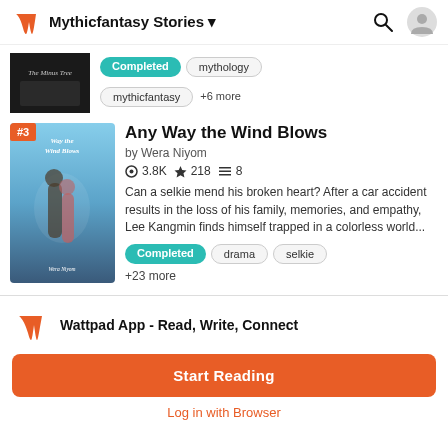Mythicfantasy Stories
Completed  mythology  mythicfantasy  +6 more
[Figure (illustration): Book cover thumbnail for a dark-themed story]
Any Way the Wind Blows
by Wera Niyom
3.8K ★ 218  8
Can a selkie mend his broken heart? After a car accident results in the loss of his family, memories, and empathy, Lee Kangmin finds himself trapped in a colorless world...
Completed  drama  selkie  +23 more
Wattpad App - Read, Write, Connect
Start Reading
Log in with Browser